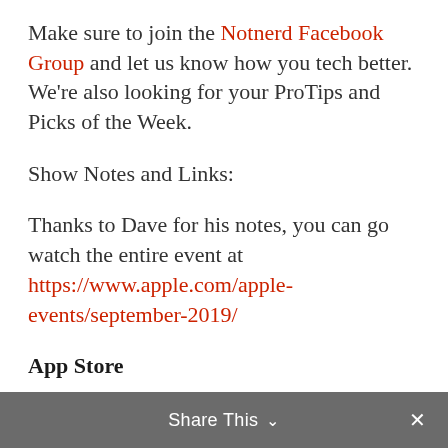Make sure to join the Notnerd Facebook Group and let us know how you tech better. We're also looking for your ProTips and Picks of the Week.
Show Notes and Links:
Thanks to Dave for his notes, you can go watch the entire event at https://www.apple.com/apple-events/september-2019/
App Store
Apple Arcade
All new games
Not on any other platform or service
Share This ∨  ✕